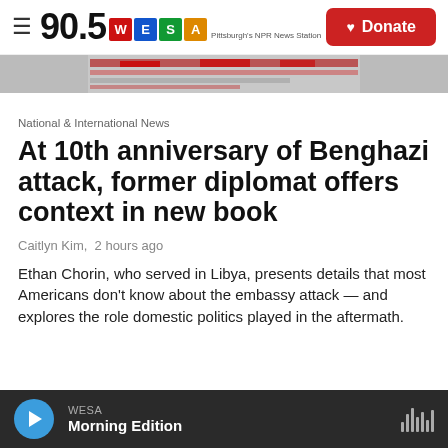90.5 WESA — Pittsburgh's NPR News Station | Donate
[Figure (photo): Partial hero image strip showing a newspaper or document with red elements]
National & International News
At 10th anniversary of Benghazi attack, former diplomat offers context in new book
Caitlyn Kim,  2 hours ago
Ethan Chorin, who served in Libya, presents details that most Americans don't know about the embassy attack — and explores the role domestic politics played in the aftermath.
WESA — Morning Edition (audio player)